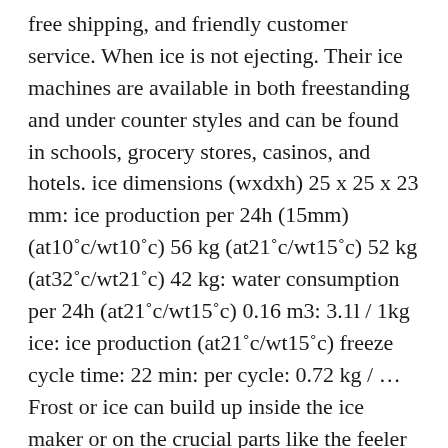free shipping, and friendly customer service. When ice is not ejecting. Their ice machines are available in both freestanding and under counter styles and can be found in schools, grocery stores, casinos, and hotels. ice dimensions (wxdxh) 25 x 25 x 23 mm: ice production per 24h (15mm) (at10˚c/wt10˚c) 56 kg (at21˚c/wt15˚c) 52 kg (at32˚c/wt21˚c) 42 kg: water consumption per 24h (at21˚c/wt15˚c) 0.16 m3: 3.1l / 1kg ice: ice production (at21˚c/wt15˚c) freeze cycle time: 22 min: per cycle: 0.72 kg / … Frost or ice can build up inside the ice maker or on the crucial parts like the feeler arm. Should the reader have any questions or concerns which have not been satisfactorily addressed, please call, write, or send an e-mail message to the Hoshizaki Technical Support Department for assistance. I have a Hoshizaki ice machine.It dose not come on I have no lites on the broad. 1.Unplug the Ice Machine power cord from the electrical